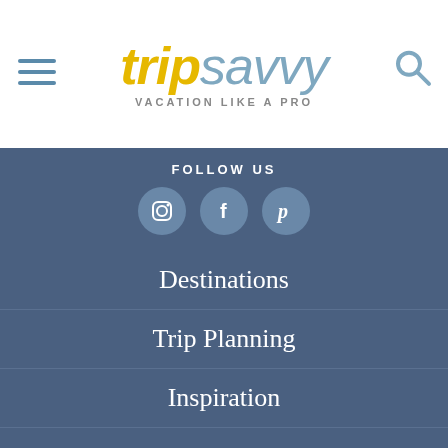[Figure (logo): TripSavvy logo with hamburger menu icon on left and search icon on right. Logo text shows 'trip' in gold italic and 'savvy' in slate blue italic, with tagline 'VACATION LIKE A PRO' below.]
FOLLOW US
[Figure (infographic): Three social media icons in slate blue circles: Instagram, Facebook, Pinterest]
Destinations
Trip Planning
Inspiration
Outdoors
News
[Figure (logo): Dotdash Meredith advertisement bar: 'We help people find answers, solve problems and get inspired.' with Dotdash Meredith logo.]